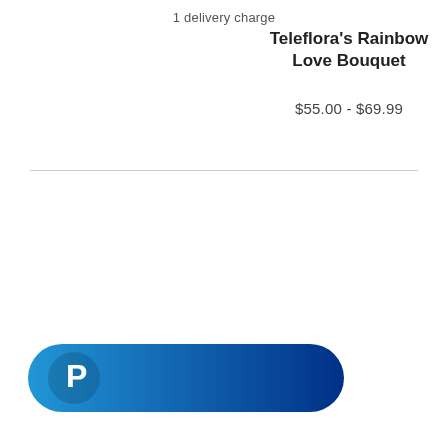1 delivery charge
Teleflora's Rainbow Love Bouquet
$55.00 - $69.99
[Figure (logo): PayPal button — a rounded pill-shaped button with a blue gradient background (light blue on the left, dark blue on the right) and a white PayPal 'P' logo icon on the left side.]